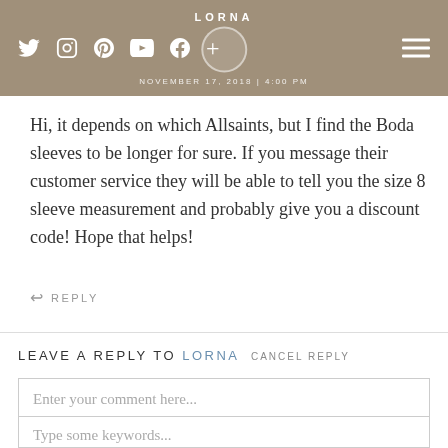LORNA | NOVEMBER 17, 2018 | 4:00 PM [social icons: twitter, instagram, pinterest, youtube, facebook, plus] [hamburger menu]
Hi, it depends on which Allsaints, but I find the Boda sleeves to be longer for sure. If you message their customer service they will be able to tell you the size 8 sleeve measurement and probably give you a discount code! Hope that helps!
↩ REPLY
LEAVE A REPLY TO LORNA  CANCEL REPLY
Enter your comment here...
Type some keywords...